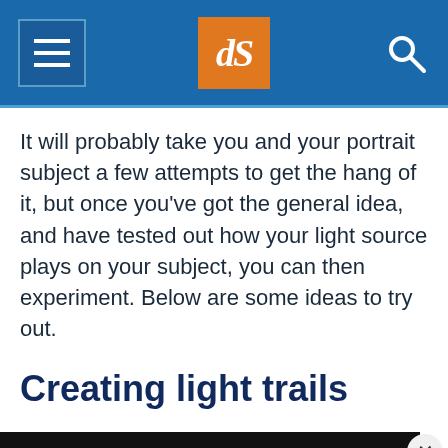dPS navigation header with hamburger menu, logo, and search icon
It will probably take you and your portrait subject a few attempts to get the hang of it, but once you've got the general idea, and have tested out how your light source plays on your subject, you can then experiment. Below are some ideas to try out.
Creating light trails
[Figure (screenshot): Black advertisement bar with close (X) button overlay at the bottom of the screen]